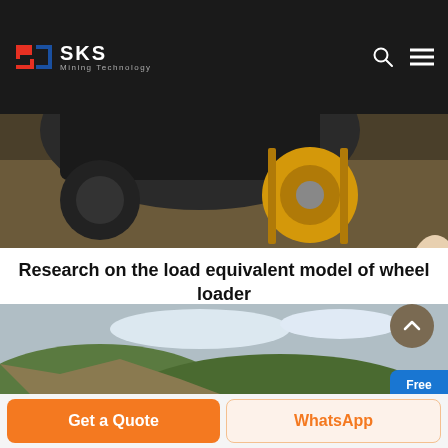SKS Mining Technology
[Figure (photo): Heavy machinery/wheel loader with yellow wheels on a gravel surface]
Research on the load equivalent model of wheel loader
The working device of wheel loader undergoes complicated load cycles in operation with changing attitude all the time. However, it is difficult to duplicate the exact load history in lab. The common practice is to apply a fixed load attitude and equivalent load, to the working device to assess its fatigue life.
[Figure (photo): Outdoor hillside landscape photo with trees and cloudy sky]
Get a Quote | WhatsApp